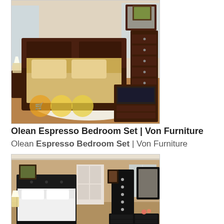[Figure (photo): Olean Espresso bedroom furniture set showing dark brown wood bed, nightstand, tall chest, dresser with mirror, and TV stand on hardwood floor with cream rug]
Olean Espresso Bedroom Set | Von Furniture
Olean Espresso Bedroom Set | Von Furniture
[Figure (photo): Dark black bedroom furniture set with upholstered headboard, tall chest with jeweled handles, dresser with mirror in a beige room]